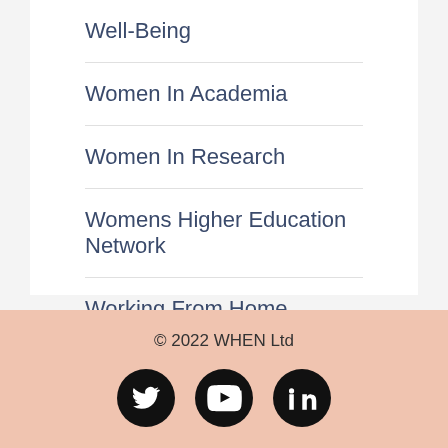Well-Being
Women In Academia
Women In Research
Womens Higher Education Network
Working From Home
© 2022 WHEN Ltd